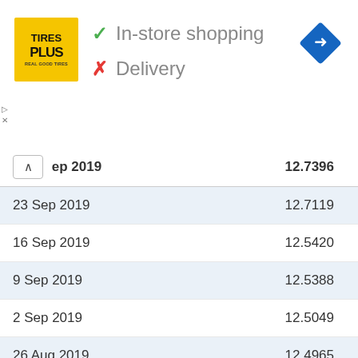[Figure (logo): Tires Plus logo (yellow square) with green checkmark In-store shopping and red X Delivery, plus blue navigation diamond icon]
| Date | Value |
| --- | --- |
| Sep 2019 | 12.7396 |
| 23 Sep 2019 | 12.7119 |
| 16 Sep 2019 | 12.5420 |
| 9 Sep 2019 | 12.5388 |
| 2 Sep 2019 | 12.5049 |
| 26 Aug 2019 | 12.4965 |
| 19 Aug 2019 | 12.5409 |
| 12 Aug 2019 | 12.6255 |
| 5 Aug 2019 | 12.6472 |
| 29 Jul 2019 | 13.0912 |
| 22 Jul 2019 | 13.0566 |